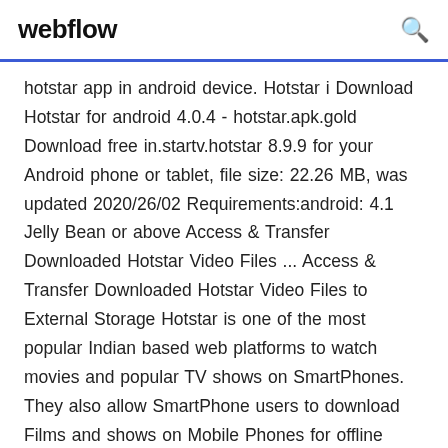webflow
hotstar app in android device. Hotstar i Download Hotstar for android 4.0.4 - hotstar.apk.gold Download free in.startv.hotstar 8.9.9 for your Android phone or tablet, file size: 22.26 MB, was updated 2020/26/02 Requirements:android: 4.1 Jelly Bean or above Access & Transfer Downloaded Hotstar Video Files ... Access & Transfer Downloaded Hotstar Video Files to External Storage Hotstar is one of the most popular Indian based web platforms to watch movies and popular TV shows on SmartPhones. They also allow SmartPhone users to download Films and shows on Mobile Phones for offline watching. Sounds great but there are some untold restrictions that many